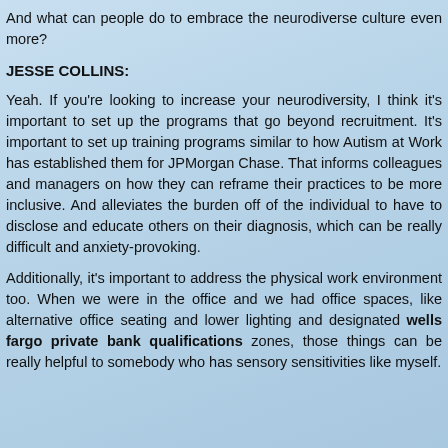And what can people do to embrace the neurodiverse culture even more?
JESSE COLLINS:
Yeah. If you're looking to increase your neurodiversity, I think it's important to set up the programs that go beyond recruitment. It's important to set up training programs similar to how Autism at Work has established them for JPMorgan Chase. That informs colleagues and managers on how they can reframe their practices to be more inclusive. And alleviates the burden off of the individual to have to disclose and educate others on their diagnosis, which can be really difficult and anxiety-provoking.
Additionally, it's important to address the physical work environment too. When we were in the office and we had office spaces, like alternative office seating and lower lighting and designated wells fargo private bank qualifications zones, those things can be really helpful to somebody who has sensory sensitivities like myself.